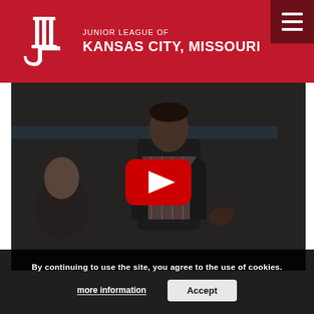[Figure (logo): Junior League of Kansas City, Missouri logo with white JL monogram on red background]
JUNIOR LEAGUE OF KANSAS CITY, MISSOURI
[Figure (screenshot): Video thumbnail showing a man in a plaid shirt and blazer speaking at an event, with a woman visible to the left. A YouTube-style red play button overlay is centered on the image.]
By continuing to use the site, you agree to the use of cookies.
more information
Accept